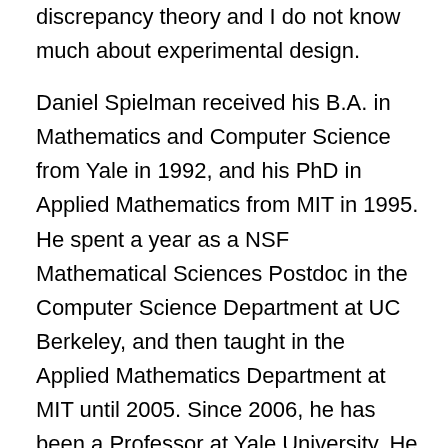discrepancy theory and I do not know much about experimental design.
Daniel Spielman received his B.A. in Mathematics and Computer Science from Yale in 1992, and his PhD in Applied Mathematics from MIT in 1995. He spent a year as a NSF Mathematical Sciences Postdoc in the Computer Science Department at UC Berkeley, and then taught in the Applied Mathematics Department at MIT until 2005. Since 2006, he has been a Professor at Yale University. He is presently the Sterling Professor of Computer Science, and Professor of Statistics and Data Science, and of Mathematics.
Professor Spielman has received many awards, including the 1995 ACM Doctoral Dissertation Award, the 2002 IEEE Information Theory Paper Award, the 2008 and